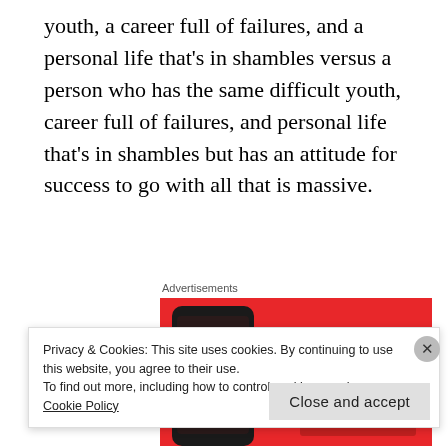youth, a career full of failures, and a personal life that's in shambles versus a person who has the same difficult youth, career full of failures, and personal life that's in shambles but has an attitude for success to go with all that is massive.
Advertisements
[Figure (illustration): Advertisement banner with red background showing a smartphone with 'Dis-trib-uted' text and the slogan 'An app by listeners, for listeners.']
Privacy & Cookies: This site uses cookies. By continuing to use this website, you agree to their use.
To find out more, including how to control cookies, see here: Cookie Policy
Close and accept